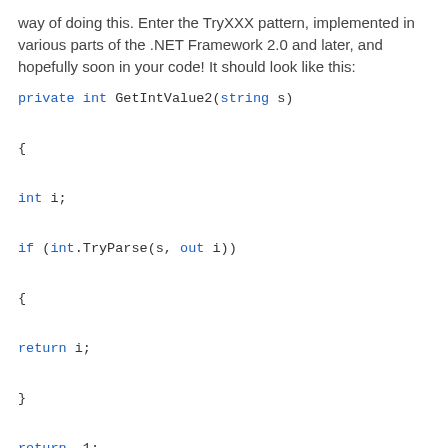way of doing this. Enter the TryXXX pattern, implemented in various parts of the .NET Framework 2.0 and later, and hopefully soon in your code! It should look like this:
The TryXXX pattern is a very nice way to handle the situation that you're expecting, and want to handle, bad input. In your own implementation, you should not just wrap